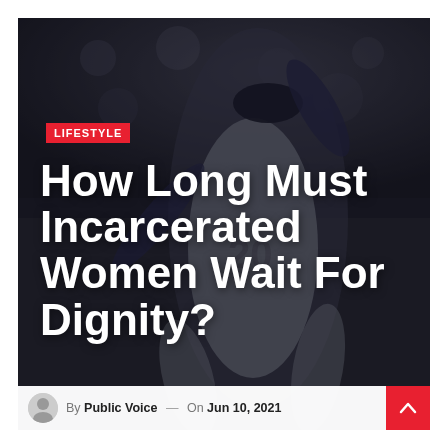[Figure (photo): Baseball pitcher in gray uniform with number 20 on back, mid-pitching motion on a dimly lit stadium field with blurred crowd in background. Dark, atmospheric photo.]
LIFESTYLE
How Long Must Incarcerated Women Wait For Dignity?
By Public Voice — On Jun 10, 2021